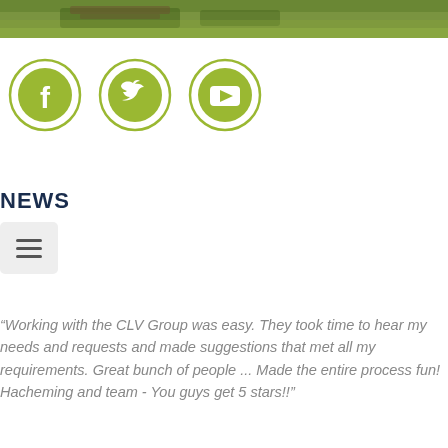[Figure (photo): Green outdoor scene with park bench, grass and path visible at top of page]
[Figure (other): Three social media icons in yellow-green circles: Facebook, Twitter, YouTube]
NEWS
[Figure (other): Hamburger menu button (three horizontal lines) on light gray background]
“Working with the CLV Group was easy. They took time to hear my needs and requests and made suggestions that met all my requirements. Great bunch of people ... Made the entire process fun! Hacheming and team - You guys get 5 stars!!”